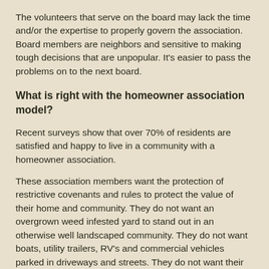The volunteers that serve on the board may lack the time and/or the expertise to properly govern the association. Board members are neighbors and sensitive to making tough decisions that are unpopular. It's easier to pass the problems on to the next board.
What is right with the homeowner association model?
Recent surveys show that over 70% of residents are satisfied and happy to live in a community with a homeowner association.
These association members want the protection of restrictive covenants and rules to protect the value of their home and community. They do not want an overgrown weed infested yard to stand out in an otherwise well landscaped community. They do not want boats, utility trailers, RV's and commercial vehicles parked in driveways and streets. They do not want their neighbor to build a fence that blocks a beautiful view and decreases its overall home addition that